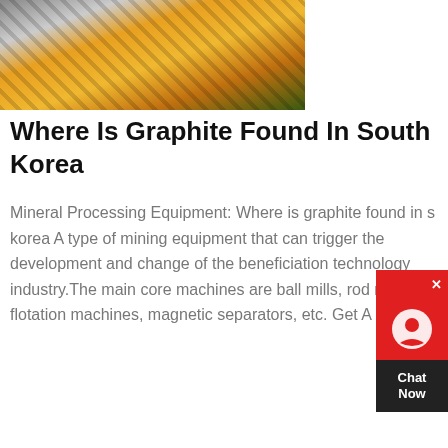[Figure (photo): Orange and yellow industrial mining machinery crane structure photographed from below against a green background]
Where Is Graphite Found In South Korea
Mineral Processing Equipment: Where is graphite found in south korea A type of mining equipment that can trigger the development and change of the beneficiation technology industry.The main core machines are ball mills, rod mills, flotation machines, magnetic separators, etc. Get A Quote
get price
[Figure (photo): Green industrial mining processing plant with conveyor belts and machinery under cloudy sky]